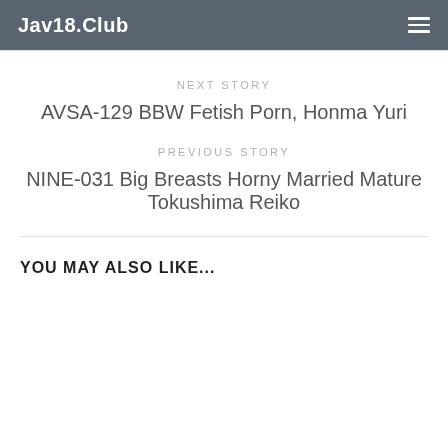Jav18.Club
NEXT STORY
AVSA-129 BBW Fetish Porn, Honma Yuri
PREVIOUS STORY
NINE-031 Big Breasts Horny Married Mature Tokushima Reiko
YOU MAY ALSO LIKE...